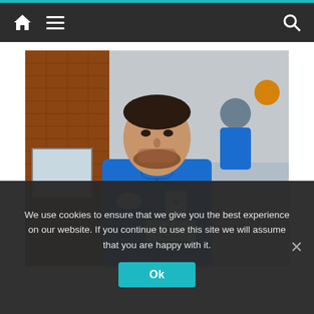Navigation bar with home, menu, and search icons
[Figure (photo): A man wearing a blue Crystal Palace FC Puma jacket with ManBetX sponsor logo, standing near a brick wall. Another person visible in background, also in blue. Outdoor setting.]
We use cookies to ensure that we give you the best experience on our website. If you continue to use this site we will assume that you are happy with it.
Ok